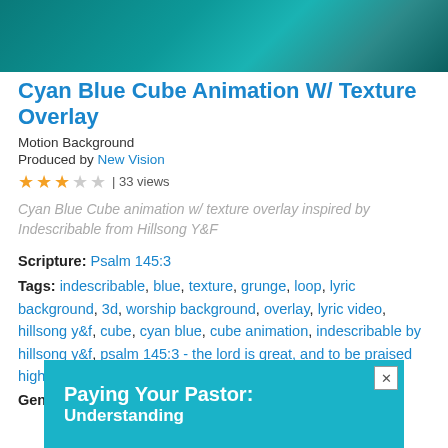[Figure (photo): Teal/cyan colored motion background thumbnail image]
Cyan Blue Cube Animation W/ Texture Overlay
Motion Background
Produced by New Vision
★★★☆☆ | 33 views
Cyan Blue Cube animation w/ texture overlay inspired by Indescribable from Hillsong Y&F
Scripture: Psalm 145:3
Tags: indescribable, blue, texture, grunge, loop, lyric background, 3d, worship background, overlay, lyric video, hillsong y&f, cube, cyan blue, cube animation, indescribable by hillsong y&f, psalm 145:3 - the lord is great, and to be praised highly, though his greatness is indescribable.
Genres: Emotional, Powerful
[Figure (screenshot): Advertisement banner: Paying Your Pastor: Understanding]